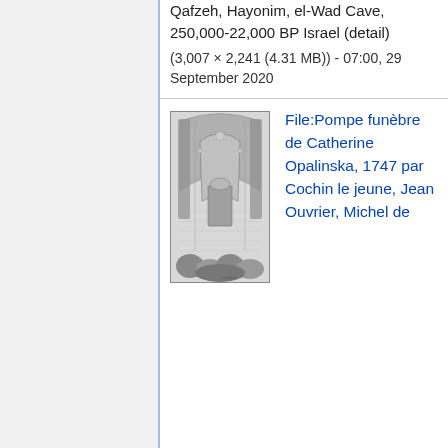Qafzeh, Hayonim, el-Wad Cave, 250,000-22,000 BP Israel (detail)
(3,007 × 2,241 (4.31 MB)) - 07:00, 29 September 2020
[Figure (illustration): Black and white engraving of a grand funeral ceremony in a cathedral, with draperies and a crowd of figures]
File:Pompe funèbre de Catherine Opalinska, 1747 par Cochin le jeune, Jean Ouvrier, Michel de...